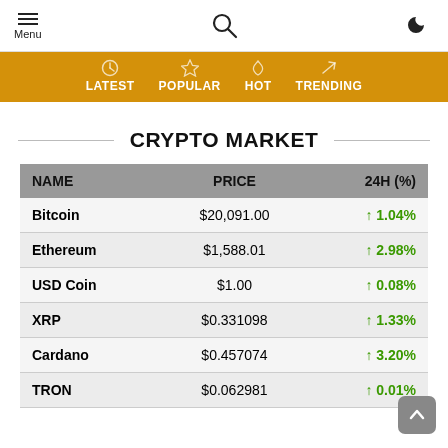Menu | Search | Dark mode toggle
LATEST | POPULAR | HOT | TRENDING
CRYPTO MARKET
| NAME | PRICE | 24H (%) |
| --- | --- | --- |
| Bitcoin | $20,091.00 | ↑ 1.04% |
| Ethereum | $1,588.01 | ↑ 2.98% |
| USD Coin | $1.00 | ↑ 0.08% |
| XRP | $0.331098 | ↑ 1.33% |
| Cardano | $0.457074 | ↑ 3.20% |
| TRON | $0.062981 | ↑ 0.01% |